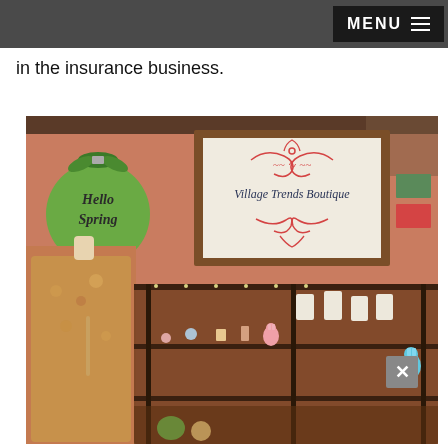MENU
in the insurance business.
[Figure (photo): Interior of Village Trends Boutique shop showing a mannequin dressed in a floral outfit on the left, a framed sign reading 'Village Trends Boutique' with decorative red swirls on a salmon/terracotta wall in the center, a green circular 'Hello Spring' sign with greenery, and display shelves with jewelry, necklaces, and small decorative items in the foreground. An 'X' close button is visible in the lower right of the photo.]